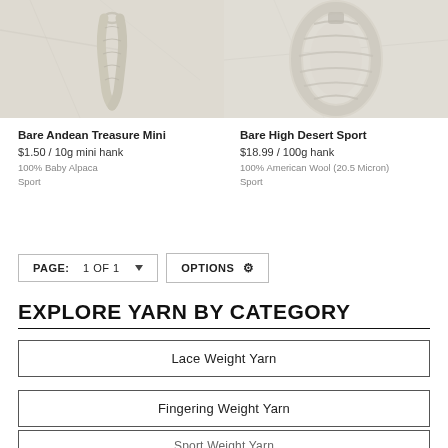[Figure (photo): Two product photos of yarn skeins on a light marble/stone background, side by side. Left: Bare Andean Treasure Mini (thin twisted mini skein). Right: Bare High Desert Sport (larger twisted hank of cream/white yarn).]
Bare Andean Treasure Mini
$1.50 / 10g mini hank
100% Baby Alpaca
Sport
Bare High Desert Sport
$18.99 / 100g hank
100% American Wool (20.5 Micron)
Sport
PAGE: 1 OF 1  OPTIONS ⚙
EXPLORE YARN BY CATEGORY
Lace Weight Yarn
Fingering Weight Yarn
Sport Weight Yarn